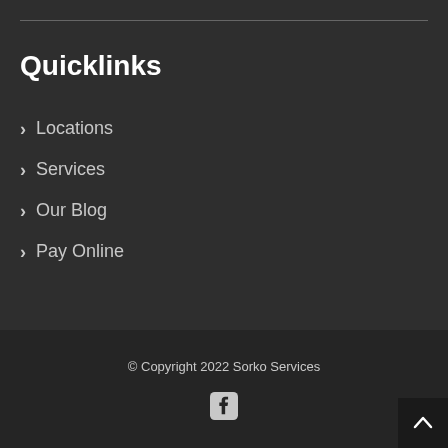Quicklinks
Locations
Services
Our Blog
Pay Online
© Copyright 2022 Sorko Services